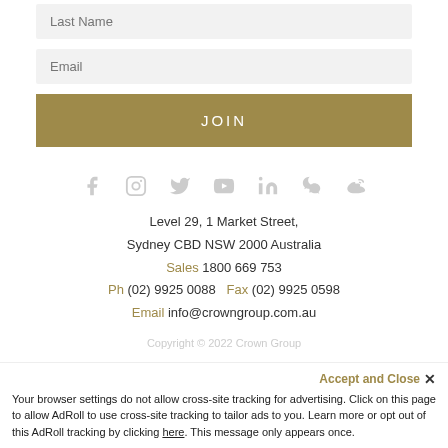Last Name
Email
JOIN
[Figure (other): Row of social media icons: Facebook, Instagram, Twitter, YouTube, LinkedIn, WeChat, Weibo — all in light grey]
Level 29, 1 Market Street,
Sydney CBD NSW 2000 Australia
Sales 1800 669 753
Ph (02) 9925 0088  Fax (02) 9925 0598
Email info@crowngroup.com.au
Copyright © 2022 Crown Group
Accept and Close ×
Your browser settings do not allow cross-site tracking for advertising. Click on this page to allow AdRoll to use cross-site tracking to tailor ads to you. Learn more or opt out of this AdRoll tracking by clicking here. This message only appears once.